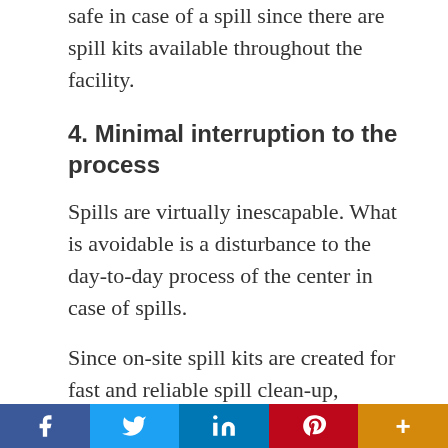safe in case of a spill since there are spill kits available throughout the facility.
4. Minimal interruption to the process
Spills are virtually inescapable. What is avoidable is a disturbance to the day-to-day process of the center in case of spills.
Since on-site spill kits are created for fast and reliable spill clean-up, centers can resume procedure nearly instantly after a spill is cleaned up.
5. Legislative problems
[Figure (infographic): Social media sharing bar with Facebook (blue), Twitter (light blue), LinkedIn (dark blue), Pinterest (red), and More (orange) buttons]